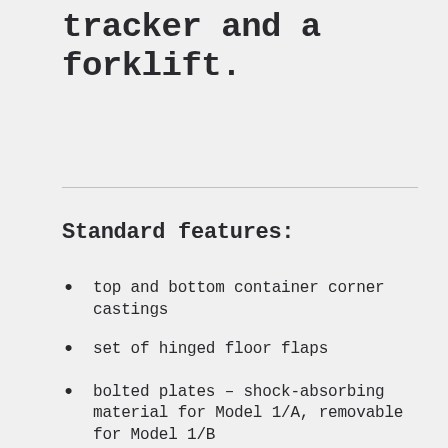tracker and a forklift.
Standard features:
top and bottom container corner castings
set of hinged floor flaps
bolted plates – shock-absorbing material for Model 1/A, removable for Model 1/B
the mechanism for closing and opening hinged flaps